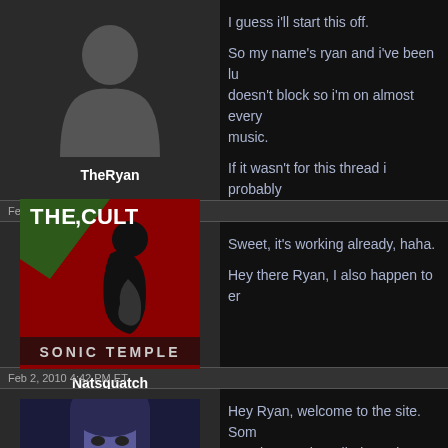[Figure (photo): Silhouette avatar placeholder for user TheRyan]
TheRyan
I guess i'll start this off.

So my name's ryan and i've been lu doesn't block so i'm on almost every music.

If it wasn't for this thread i probably
Feb 2, 2010 4:02 PM ET
[Figure (photo): The Cult - Sonic Temple album cover used as avatar for user Natsquatch]
Natsquatch
Sweet, it's working already, haha.

Hey there Ryan, I also happen to er
Feb 2, 2010 4:42 PM ET
[Figure (photo): Photo of a young woman with dark hair, bluish tint, avatar for InfernoNecrosis]
InfernoNecrosis
Hey Ryan, welcome to the site. Som americanpatriot, Blindgreed, etc. Ol OR you might get your youth draine
Feb 2, 2010 7:21 PM ET